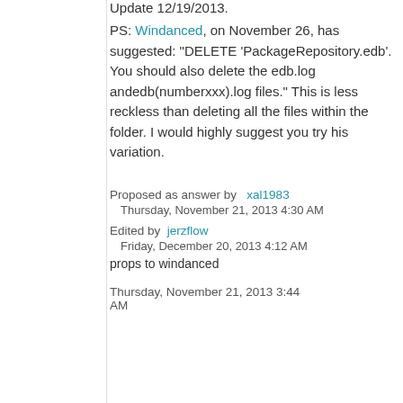Update 12/19/2013.
PS: Windanced, on November 26, has suggested: "DELETE 'PackageRepository.edb'. You should also delete the edb.log andedb(numberxxx).log files." This is less reckless than deleting all the files within the folder. I would highly suggest you try his variation.
Proposed as answer by xal1983
Thursday, November 21, 2013 4:30 AM
Edited by jerzflow
Friday, December 20, 2013 4:12 AM
props to windanced
Thursday, November 21, 2013 3:44 AM